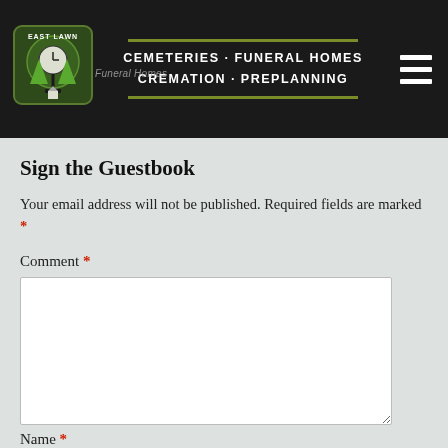[Figure (logo): East Lawn logo with clock tower and green trees on dark background, with text CEMETERIES · FUNERAL HOMES CREMATION · PREPLANNING]
Sign the Guestbook
Your email address will not be published. Required fields are marked *
Comment *
Name *